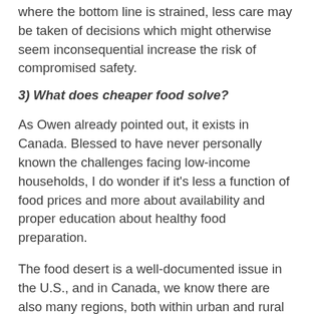where the bottom line is strained, less care may be taken of decisions which might otherwise seem inconsequential increase the risk of compromised safety.
3) What does cheaper food solve?
As Owen already pointed out, it exists in Canada. Blessed to have never personally known the challenges facing low-income households, I do wonder if it's less a function of food prices and more about availability and proper education about healthy food preparation.
The food desert is a well-documented issue in the U.S., and in Canada, we know there are also many regions, both within urban and rural areas where Canadians do not have access to fresh fruit and vegetables and healthy foods within walking distance. Compounding this, our schools no longer teach healthy cooking so while the edge of the supermarket is the cheapest route to the cash register, many resort to filling their cart with produce from the perimeter, but others...